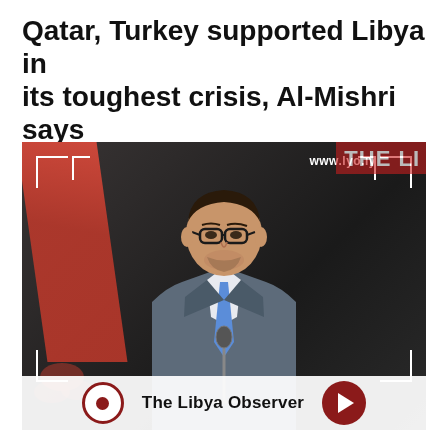Qatar, Turkey supported Libya in its toughest crisis, Al-Mishri says
November 03, 2020 - 19:21   Posted in: NEWS
Written By: AbdulkaderAssad
[Figure (photo): Photo of Al-Mishri, a man in a grey suit with blue tie and glasses, seated at a microphone. Background shows a red diagonal element (flag) and dark setting. Viewfinder/camera overlay corners are visible. Watermark: www.lyo.ly. Top right shows partial text 'THE LI'. Bottom bar shows The Libya Observer logo (circle with inner dot) and a red play button.]